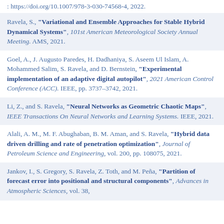: https://doi.org/10.1007/978-3-030-74568-4, 2022.
Ravela, S., "Variational and Ensemble Approaches for Stable Hybrid Dynamical Systems", 101st American Meteorological Society Annual Meeting. AMS, 2021.
Goel, A., J. Augusto Paredes, H. Dadhaniya, S. Aseem Ul Islam, A. Mohammed Salim, S. Ravela, and D. Bernstein, "Experimental implementation of an adaptive digital autopilot", 2021 American Control Conference (ACC). IEEE, pp. 3737–3742, 2021.
Li, Z., and S. Ravela, "Neural Networks as Geometric Chaotic Maps", IEEE Transactions On Neural Networks and Learning Systems. IEEE, 2021.
Alali, A. M., M. F. Abughaban, B. M. Aman, and S. Ravela, "Hybrid data driven drilling and rate of penetration optimization", Journal of Petroleum Science and Engineering, vol. 200, pp. 108075, 2021.
Jankov, I., S. Gregory, S. Ravela, Z. Toth, and M. Peña, "Partition of forecast error into positional and structural components", Advances in Atmospheric Sciences, vol. 38,